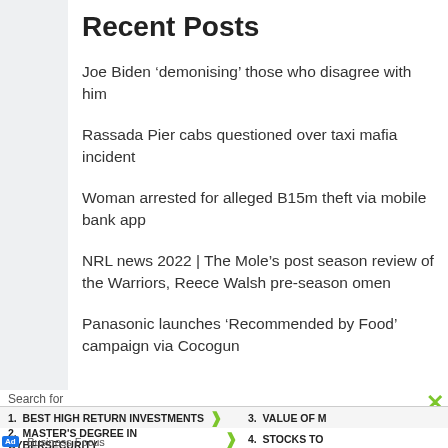Recent Posts
Joe Biden ‘demonising’ those who disagree with him
Rassada Pier cabs questioned over taxi mafia incident
Woman arrested for alleged B15m theft via mobile bank app
NRL news 2022 | The Mole’s post season review of the Warriors, Reece Walsh pre-season omen
Panasonic launches ‘Recommended by Food’ campaign via Cocogun
Search for
1. BEST HIGH RETURN INVESTMENTS  3. VALUE OF M
2. MASTER'S DEGREE IN CYBERSECURITY  4. STOCKS TO
Ad | Business Focus